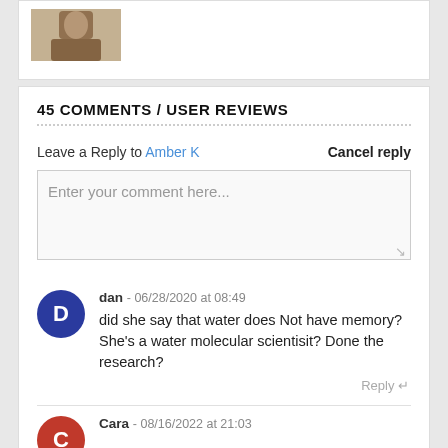[Figure (photo): Small sepia-toned photograph of a person]
45 COMMENTS / USER REVIEWS
Leave a Reply to Amber K   Cancel reply
Enter your comment here...
dan - 06/28/2020 at 08:49
did she say that water does Not have memory? She's a water molecular scientisit? Done the research?
Reply
Cara - 08/16/2022 at 21:03